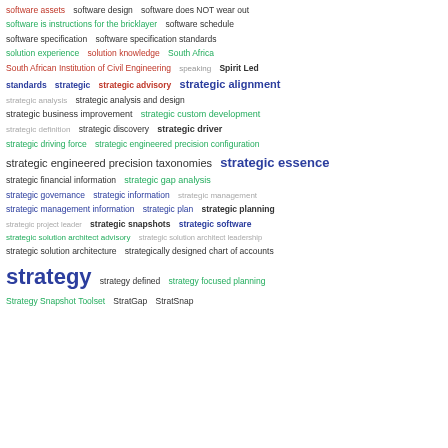[Figure (infographic): Tag cloud of terms related to strategic software, business, and architecture concepts. Terms appear in varying sizes and colors (green, red, blue, purple, gray, black) indicating frequency or category.]